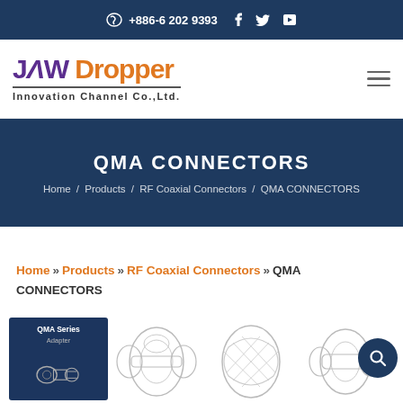+886-6 202 9393
[Figure (logo): JAW Dropper Innovation Channel Co.,Ltd. company logo with purple and orange text]
QMA CONNECTORS
Home / Products / RF Coaxial Connectors / QMA CONNECTORS
Home » Products » RF Coaxial Connectors » QMA CONNECTORS
[Figure (photo): QMA Series Adapter product catalog cover and QMA connector product photos]